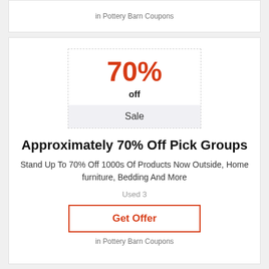in Pottery Barn Coupons
70%
off
Sale
Approximately 70% Off Pick Groups
Stand Up To 70% Off 1000s Of Products Now Outside, Home furniture, Bedding And More
Used 3
Get Offer
in Pottery Barn Coupons